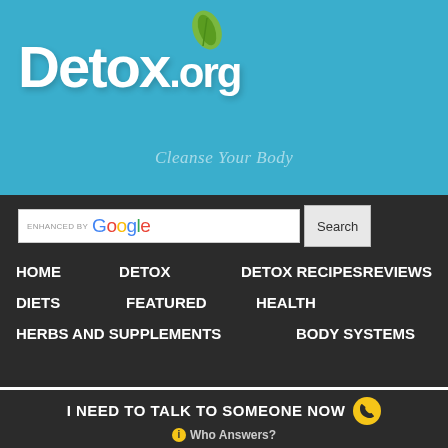Detox.org — Cleanse Your Body
[Figure (logo): Detox.org logo with green leaf icon and tagline 'Cleanse Your Body' on teal background]
[Figure (screenshot): Navigation bar with Google search box and nav links: HOME, DETOX, DETOX RECIPES, REVIEWS, DIETS, FEATURED, HEALTH, HERBS AND SUPPLEMENTS, BODY SYSTEMS]
Most Effective Body Detox Drinks
It may seem like a quick and easy way to lose weight, but there are other factors that are involved before you make the decision to undergo a body detox. With so many different forms of
I NEED TO TALK TO SOMEONE NOW  Who Answers?